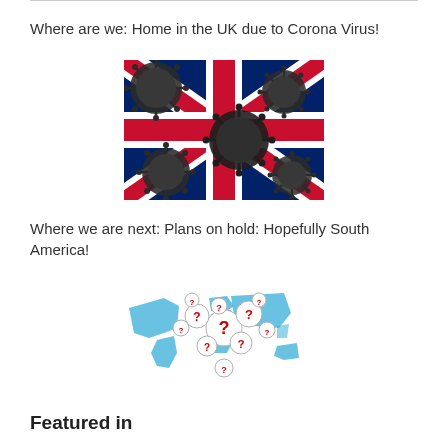Where are we: Home in the UK due to Corona Virus!
[Figure (illustration): UK Union Jack flag overlaid with dark coronavirus spiky ball images]
Where we are next: Plans on hold: Hopefully South America!
[Figure (illustration): World map with question mark spheres hovering over it, representing unknown travel plans]
Featured in